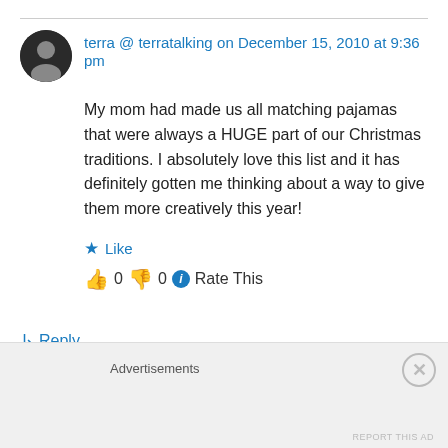terra @ terratalking on December 15, 2010 at 9:36 pm
My mom had made us all matching pajamas that were always a HUGE part of our Christmas traditions. I absolutely love this list and it has definitely gotten me thinking about a way to give them more creatively this year!
★ Like
👍 0 👎 0 ℹ Rate This
↳ Reply
Advertisements